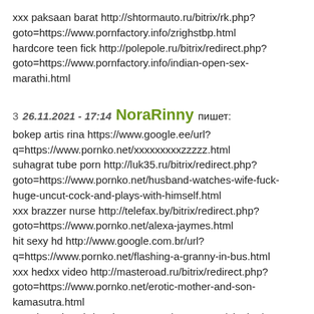xxx paksaan barat http://shtormauto.ru/bitrix/rk.php?goto=https://www.pornfactory.info/zrighstbp.html hardcore teen fick http://polepole.ru/bitrix/redirect.php?goto=https://www.pornfactory.info/indian-open-sex-marathi.html
3   26.11.2021 - 17:14   NoraRinny   пишет:
bokep artis rina https://www.google.ee/url?q=https://www.pornko.net/xxxxxxxxxzzzzz.html suhagrat tube porn http://luk35.ru/bitrix/redirect.php?goto=https://www.pornko.net/husband-watches-wife-fuck-huge-uncut-cock-and-plays-with-himself.html xxx brazzer nurse http://telefax.by/bitrix/redirect.php?goto=https://www.pornko.net/alexa-jaymes.html hit sexy hd http://www.google.com.br/url?q=https://www.pornko.net/flashing-a-granny-in-bus.html xxx hedxx video http://masteroad.ru/bitrix/redirect.php?goto=https://www.pornko.net/erotic-mother-and-son-kamasutra.html xxx six vedoss bdsm-harvest.com/wp-content/plugins/AND-AntiBounce/redirector.php?url=https://www.pornko.net/sexxxxi...